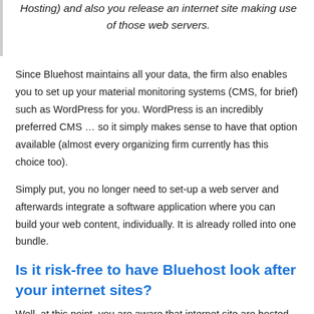Hosting) and also you release an internet site making use of those web servers.
Since Bluehost maintains all your data, the firm also enables you to set up your material monitoring systems (CMS, for brief) such as WordPress for you. WordPress is an incredibly preferred CMS … so it simply makes sense to have that option available (almost every organizing firm currently has this choice too).
Simply put, you no longer need to set-up a web server and afterwards integrate a software application where you can build your web content, individually. It is already rolled into one bundle.
Is it risk-free to have Bluehost look after your internet sites?
Well, at this point, you are aware that internet site are hosted on...